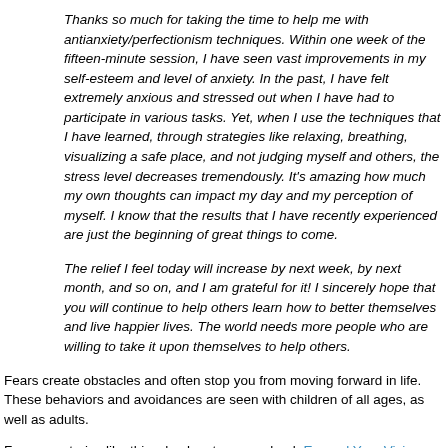Thanks so much for taking the time to help me with antianxiety/perfectionism techniques. Within one week of the fifteen-minute session, I have seen vast improvements in my self-esteem and level of anxiety. In the past, I have felt extremely anxious and stressed out when I have had to participate in various tasks. Yet, when I use the techniques that I have learned, through strategies like relaxing, breathing, visualizing a safe place, and not judging myself and others, the stress level decreases tremendously. It's amazing how much my own thoughts can impact my day and my perception of myself. I know that the results that I have recently experienced are just the beginning of great things to come.
The relief I feel today will increase by next week, by next month, and so on, and I am grateful for it! I sincerely hope that you will continue to help others learn how to better themselves and live happier lives. The world needs more people who are willing to take it upon themselves to help others.
Fears create obstacles and often stop you from moving forward in life. These behaviors and avoidances are seen with children of all ages, as well as adults.
For more stories like this, check out my new book Expand Your Vision: How to Gain Clarity, Courage & Confidence